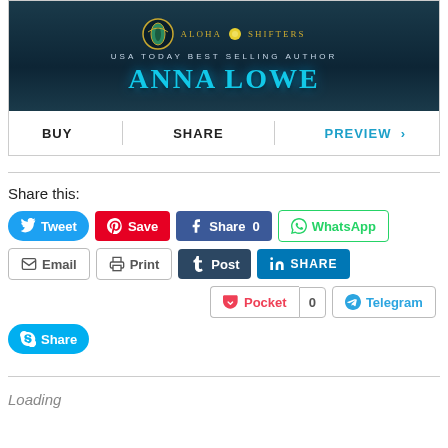[Figure (illustration): Book cover banner showing 'Aloha Shifters' series branding with 'USA Today Best Selling Author Anna Lowe' text on a dark oceanic background]
BUY | SHARE | PREVIEW >
Share this:
Tweet
Save
Share 0
WhatsApp
Email
Print
Post
SHARE
Pocket | 0
Telegram
Share
Loading